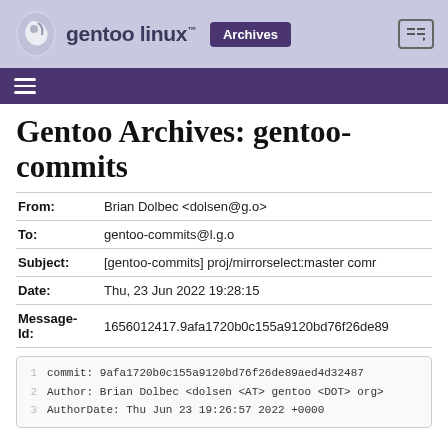gentoo linux™ Archives
Gentoo Archives: gentoo-commits
| Field | Value |
| --- | --- |
| From: | Brian Dolbec <dolsen@g.o> |
| To: | gentoo-commits@l.g.o |
| Subject: | [gentoo-commits] proj/mirrorselect:master comr |
| Date: | Thu, 23 Jun 2022 19:28:15 |
| Message-Id: | 1656012417.9afa1720b0c155a9120bd76f26de89 |
commit: 9afa1720b0c155a9120bd76f26de89aed4d32487
Author: Brian Dolbec <dolsen <AT> gentoo <DOT> org>
AuthorDate: Thu Jun 23 19:26:57 2022 +0000